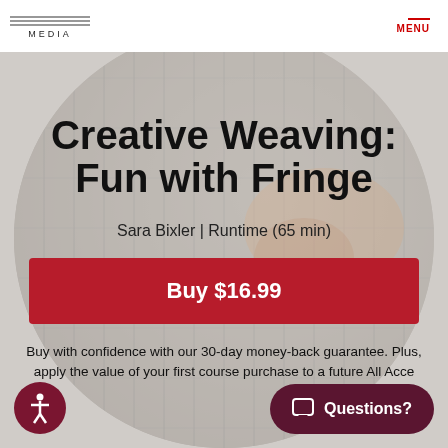[Figure (screenshot): Streaming media website screenshot showing a weaving course product page with circular background photo of weaving/fringe textile, navigation header with logo and MENU button]
MEDIA | MENU
Creative Weaving: Fun with Fringe
Sara Bixler | Runtime (65 min)
Buy $16.99
Buy with confidence with our 30-day money-back guarantee. Plus, apply the value of your first course purchase to a future All Acce...
Questions?